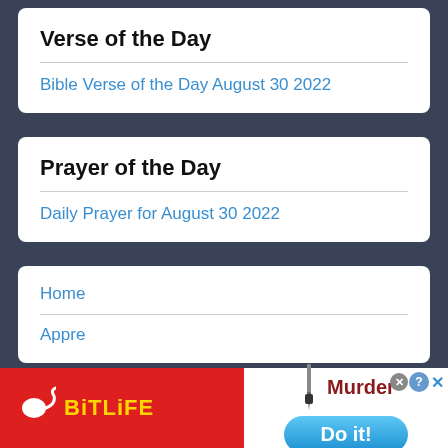Verse of the Day
Bible Verse of the Day August 30 2022
Prayer of the Day
Daily Prayer for August 30 2022
Home
Appre...ation (partially visible)
[Figure (screenshot): Advertisement banner: BitLife game ad with red left panel showing BitLife logo (sperm icon + yellow text), and white right panel showing 'Murder' text with knife icon and 'Do it!' blue button. Close/question buttons in top right.]